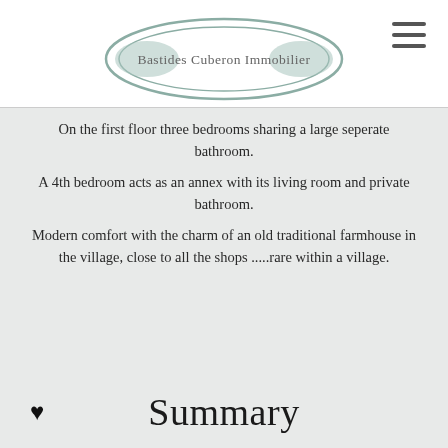[Figure (logo): Bastides Luberon Immobilier logo — oval/ellipse shape in muted teal/sage green with the text 'Bastides Cuberon Immobilier' centered inside]
On the first floor three bedrooms sharing a large seperate bathroom.
A 4th bedroom acts as an annex with its living room and private bathroom.
Modern comfort with the charm of an old traditional farmhouse in the village, close to all the shops .....rare within a village.
[Figure (illustration): A black heart/favorite icon]
Summary